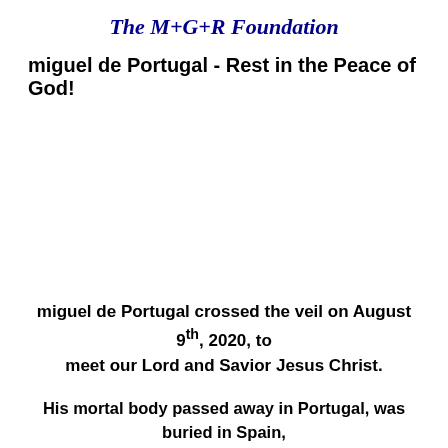The M+G+R Foundation
miguel de Portugal -  Rest in the Peace of God!
miguel de Portugal crossed the veil on August 9th, 2020, to meet our Lord and Savior Jesus Christ.
His mortal body passed away in Portugal, was buried in Spain, and was laid to rest in a humble Christian ceremony.